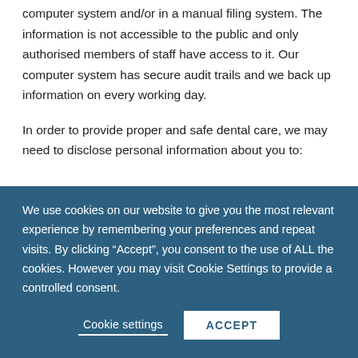computer system and/or in a manual filing system. The information is not accessible to the public and only authorised members of staff have access to it. Our computer system has secure audit trails and we back up information on every working day.
In order to provide proper and safe dental care, we may need to disclose personal information about you to:
We use cookies on our website to give you the most relevant experience by remembering your preferences and repeat visits. By clicking “Accept”, you consent to the use of ALL the cookies. However you may visit Cookie Settings to provide a controlled consent.